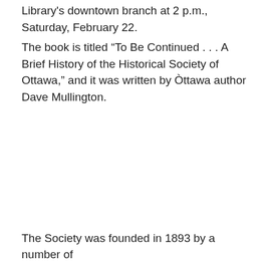Library's downtown branch at 2 p.m., Saturday, February 22.
The book is titled “To Be Continued . . . A Brief History of the Historical Society of Ottawa,” and it was written by Òttawa author Dave Mullington.
The Society was founded in 1893 by a number of